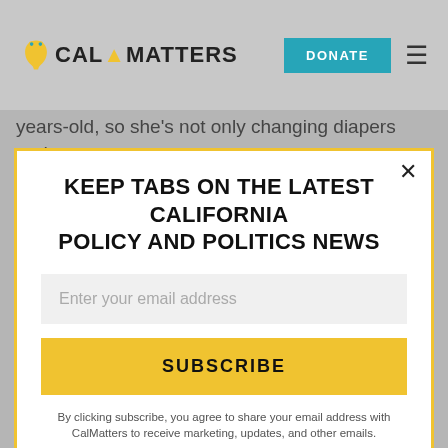CAL MATTERS | DONATE
years-old, so she's not only changing diapers and
KEEP TABS ON THE LATEST CALIFORNIA POLICY AND POLITICS NEWS
Enter your email address
SUBSCRIBE
By clicking subscribe, you agree to share your email address with CalMatters to receive marketing, updates, and other emails.
you have to do. At the end of the day I'm exhausted."